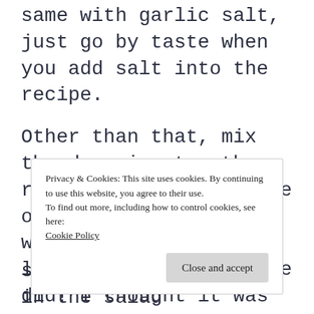same with garlic salt, just go by taste when you add salt into the recipe.
Other than that, mix the dressing together, riff on it, look at the original recipe if you want to and I hope you love this as much as we did! I thought it was the perfect counterpoint to the Kale
Privacy & Cookies: This site uses cookies. By continuing to use this website, you agree to their use. To find out more, including how to control cookies, see here: Cookie Policy
sweet potatoes I used in the salad